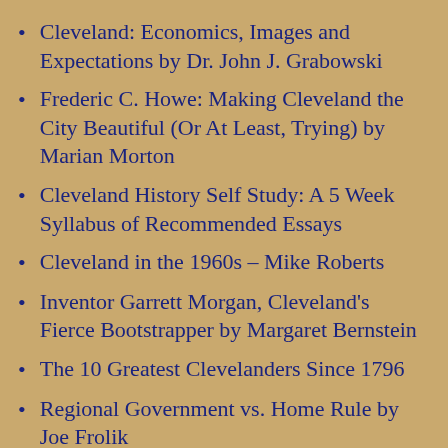Cleveland: Economics, Images and Expectations by Dr. John J. Grabowski
Frederic C. Howe: Making Cleveland the City Beautiful (Or At Least, Trying) by Marian Morton
Cleveland History Self Study: A 5 Week Syllabus of Recommended Essays
Cleveland in the 1960s – Mike Roberts
Inventor Garrett Morgan, Cleveland's Fierce Bootstrapper by Margaret Bernstein
The 10 Greatest Clevelanders Since 1796
Regional Government vs. Home Rule by Joe Frolik
Immigration by Elizabeth Sullivan
Cleveland in 1912: Civitas Triumphant by Dr. John Grabowski